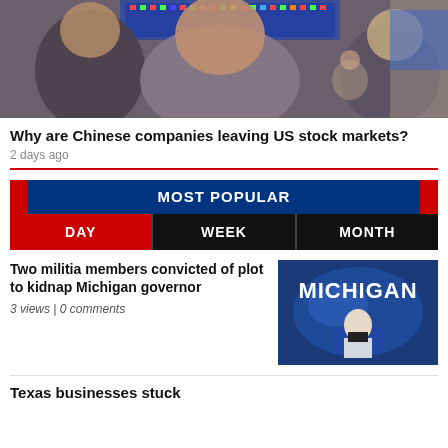[Figure (photo): Stock market trading floor with blurred people and electronic ticker boards in background]
Why are Chinese companies leaving US stock markets?
2 days ago
MOST POPULAR
DAY | WEEK | MONTH
Two militia members convicted of plot to kidnap Michigan governor
3 views | 0 comments
[Figure (photo): News broadcast graphic showing the word MICHIGAN with a female news anchor at podium]
Texas businesses stuck